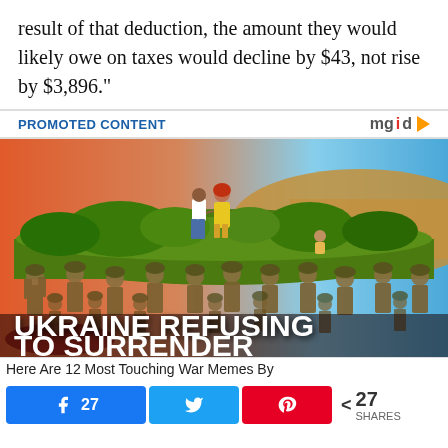result of that deduction, the amount they would likely owe on taxes would decline by $43, not rise by $3,896."
PROMOTED CONTENT
[Figure (illustration): Illustrated image showing soldiers holding up a grassy landscape above them, with two people (a man in white shirt and jeans, and a woman in yellow dress) walking hand in hand on top, with bold white text 'UKRAINE REFUSING TO SURRENDER' overlaid at the bottom.]
Here Are 12 Most Touching War Memes By
27  [Facebook share]  [Twitter share]  [Pinterest share]  < 27 SHARES